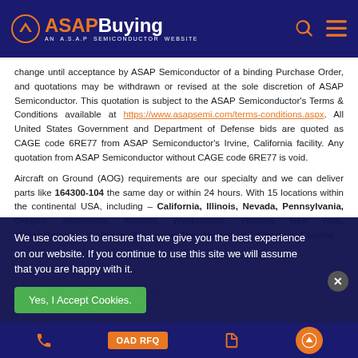ASAP Buying - AN A.S.A.P SEMICONDUCTOR WEBSITE
change until acceptance by ASAP Semiconductor of a binding Purchase Order, and quotations may be withdrawn or revised at the sole discretion of ASAP Semiconductor. This quotation is subject to the ASAP Semiconductor's Terms & Conditions available at https://www.asapsemi.com/terms-conditions.aspx. All United States Government and Department of Defense bids are quoted as CAGE code 6RE77 from ASAP Semiconductor's Irvine, California facility. Any quotation from ASAP Semiconductor without CAGE code 6RE77 is void.
Aircraft on Ground (AOG) requirements are our specialty and we can deliver parts like 164300-104 the same day or within 24 hours. With 15 locations within the continental USA, including – California, Illinois, Nevada, Pennsylvania, Oregon, Minnesota, Arizona, Washington, Virginia, New York, Massachusetts, Michigan, Wisconsin, New Mexico and Alberta in Canada.
We have unparalleled logistical capabilities. Our inventory has
We use cookies to ensure that we give you the best experience on our website. If you continue to use this site we will assume that you are happy with it.
next day delivery for your most challe...